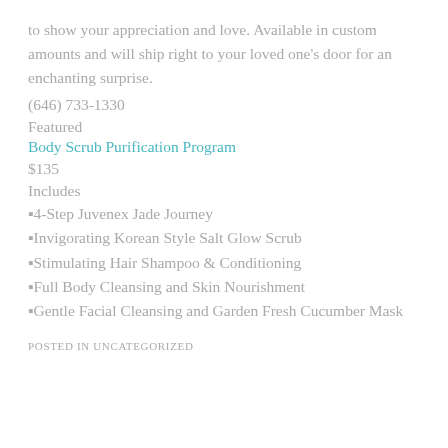to show your appreciation and love. Available in custom amounts and will ship right to your loved one's door for an enchanting surprise.
(646) 733-1330
Featured
Body Scrub Purification Program
$135
Includes
▪4-Step Juvenex Jade Journey
▪Invigorating Korean Style Salt Glow Scrub
▪Stimulating Hair Shampoo & Conditioning
▪Full Body Cleansing and Skin Nourishment
▪Gentle Facial Cleansing and Garden Fresh Cucumber Mask
POSTED IN UNCATEGORIZED